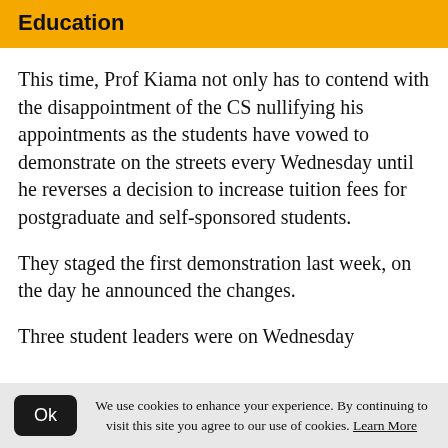Education
This time, Prof Kiama not only has to contend with the disappointment of the CS nullifying his appointments as the students have vowed to demonstrate on the streets every Wednesday until he reverses a decision to increase tuition fees for postgraduate and self-sponsored students.
They staged the first demonstration last week, on the day he announced the changes.
Three student leaders were on Wednesday
We use cookies to enhance your experience. By continuing to visit this site you agree to our use of cookies. Learn More